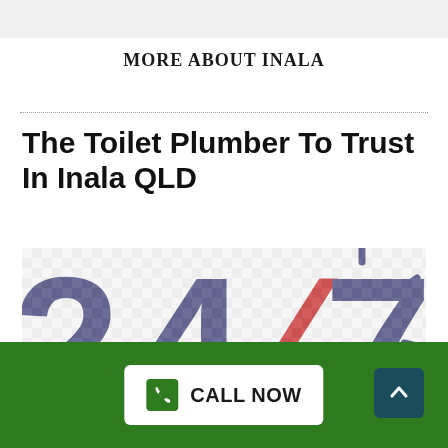MORE ABOUT INALA
The Toilet Plumber To Trust In Inala QLD
[Figure (logo): 24/7 service logo with large bold dark navy '24/7' numerals and a red clock arc outline on a checkered transparent background]
CALL NOW